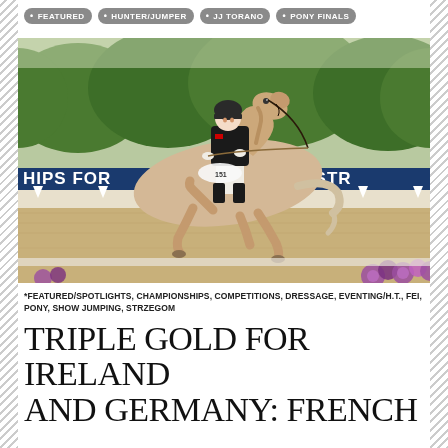• FEATURED  • HUNTER/JUMPER  • JJ TORANO  • PONY FINALS
[Figure (photo): A rider in black jacket and helmet on a pale buckskin/cremello horse performing dressage in an outdoor arena. A blue banner reads 'HIPS FOR [PONIES] – STRZ'. Flowers visible in foreground.]
*FEATURED/SPOTLIGHTS, CHAMPIONSHIPS, COMPETITIONS, DRESSAGE, EVENTING/H.T., FEI, PONY, SHOW JUMPING, STRZEGOM
TRIPLE GOLD FOR IRELAND AND GERMANY: FRENCH